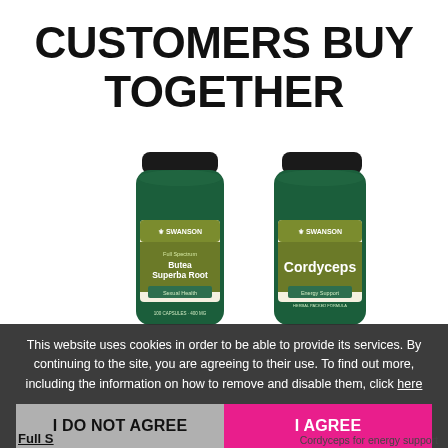CUSTOMERS BUY TOGETHER
[Figure (photo): Two Swanson supplement bottles side by side. Left: Full Spectrum Butea Superba Root (Sexual Health). Right: Cordyceps (Energy Support). Both are dark green glass bottles with black lids and white/olive-green labels.]
Full S[pectrum Butea Superba Root]
sexual health
Cordyceps for energy support
This website uses cookies in order to be able to provide its services. By continuing to the site, you are agreeing to their use. To find out more, including the information on how to remove and disable them, click here
I DO NOT AGREE
I AGREE